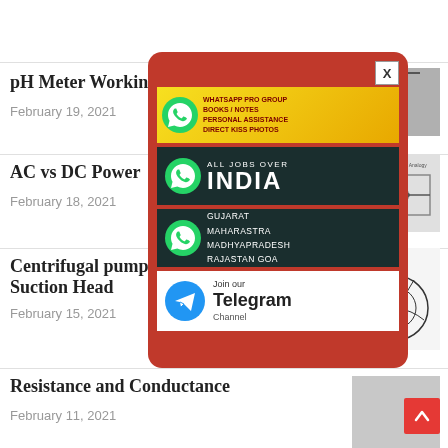[Figure (screenshot): Thumbnail image at top right corner]
pH Meter Workin...
February 19, 2021
[Figure (photo): pH meter probe thumbnail]
AC vs DC Power
February 18, 2021
[Figure (photo): Water analogy diagram thumbnail]
Centrifugal pump... Suction Head
February 15, 2021
[Figure (photo): Centrifugal pump diagram thumbnail]
Resistance and Conductance
February 11, 2021
[Figure (infographic): Popup advertisement with WhatsApp groups, India jobs, state jobs, and Telegram channel join banners, with X close button]